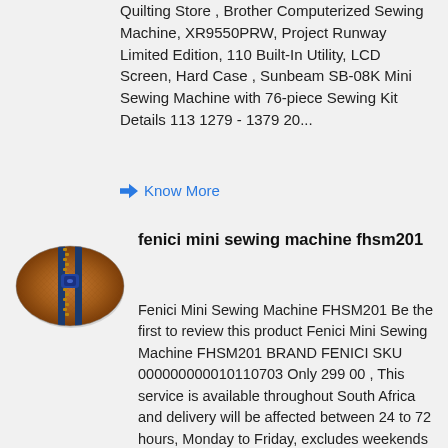Quilting Store , Brother Computerized Sewing Machine, XR9550PRW, Project Runway Limited Edition, 110 Built-In Utility, LCD Screen, Hard Case , Sunbeam SB-08K Mini Sewing Machine with 76-piece Sewing Kit Details 113 1279 - 1379 20...
Know More
[Figure (photo): Oval product photo showing a close-up of a zipper on a textured brown/copper fabric background with a blue zipper pull]
fenici mini sewing machine fhsm201
Fenici Mini Sewing Machine FHSM201 Be the first to review this product Fenici Mini Sewing Machine FHSM201 BRAND FENICI SKU 000000000010110703 Only 299 00 , This service is available throughout South Africa and delivery will be affected between 24 to 72 hours, Monday to Friday, excludes weekends and public holidays on condition ....